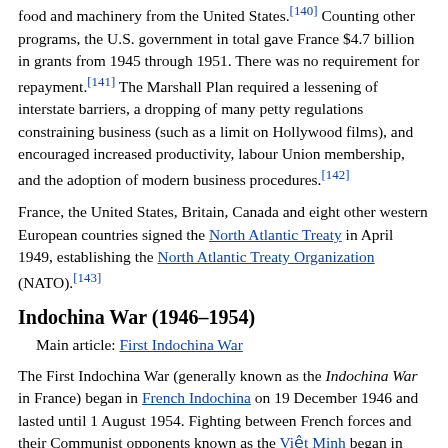food and machinery from the United States.[140] Counting other programs, the U.S. government in total gave France $4.7 billion in grants from 1945 through 1951. There was no requirement for repayment.[141] The Marshall Plan required a lessening of interstate barriers, a dropping of many petty regulations constraining business (such as a limit on Hollywood films), and encouraged increased productivity, labour Union membership, and the adoption of modern business procedures.[142]
France, the United States, Britain, Canada and eight other western European countries signed the North Atlantic Treaty in April 1949, establishing the North Atlantic Treaty Organization (NATO).[143]
Indochina War (1946–1954)
Main article: First Indochina War
The First Indochina War (generally known as the Indochina War in France) began in French Indochina on 19 December 1946 and lasted until 1 August 1954. Fighting between French forces and their Communist opponents known as the Việt Minh began in September 1945. The conflict pitted a range of forces, including the French Union's French Far East Expeditionary Corps, led by France and supported by Emperor Bảo Đại's Vietnamese National...